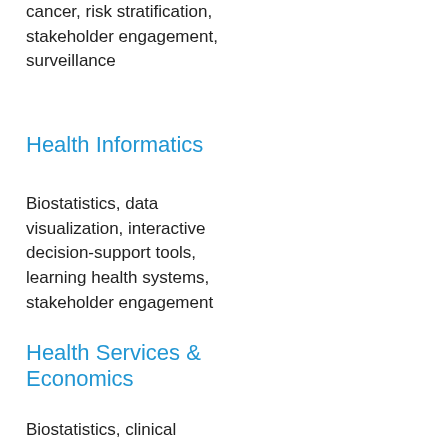cancer, risk stratification, stakeholder engagement, surveillance
Health Informatics
Biostatistics, data visualization, interactive decision-support tools, learning health systems, stakeholder engagement
Health Services & Economics
Biostatistics, clinical decision support, learning